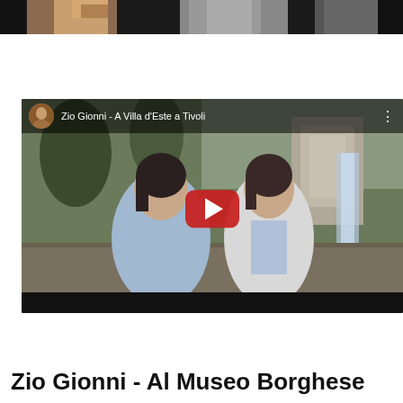[Figure (photo): Top strip showing partial image of people, cropped at top of page]
[Figure (screenshot): YouTube video thumbnail titled 'Zio Gionni - A Villa d'Este a Tivoli' showing two women sitting outdoors near a waterfall and castle, with a YouTube play button overlay and channel avatar in top-left corner]
Zio Gionni - Al Museo Borghese